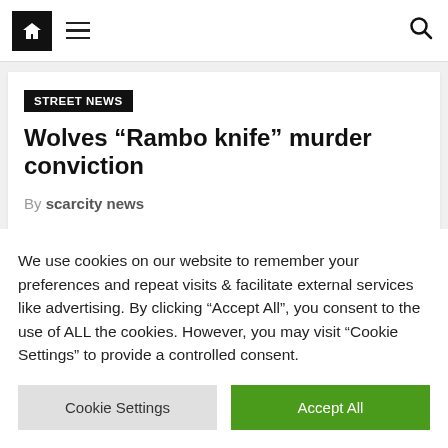Navigation bar with home icon, hamburger menu, and search icon
STREET NEWS
Wolves “Rambo knife” murder conviction
By scarcity news
We use cookies on our website to remember your preferences and repeat visits & facilitate external services like advertising. By clicking “Accept All”, you consent to the use of ALL the cookies. However, you may visit “Cookie Settings” to provide a controlled consent.
Cookie Settings | Accept All